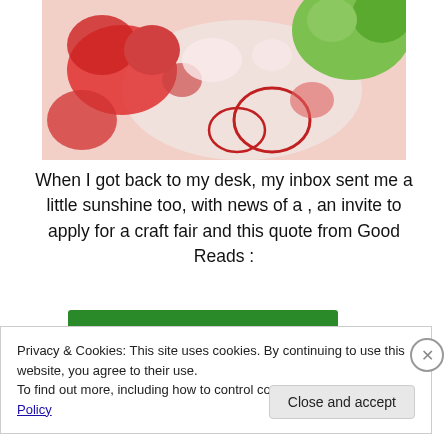[Figure (photo): Close-up photo of red and green textured organic shapes, possibly lichen or coral, with white areas between them]
When I got back to my desk, my inbox sent me a little sunshine too, with news of a , an invite to apply for a craft fair and this quote from Good Reads :
[Figure (other): Green bar/button element, partially visible]
Privacy & Cookies: This site uses cookies. By continuing to use this website, you agree to their use.
To find out more, including how to control cookies, see here: Cookie Policy
Close and accept